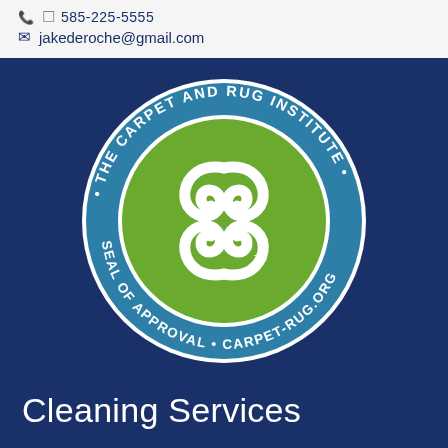jakederoche@gmail.com
[Figure (logo): The Carpet and Rug Institute Seal of Approval logo. A circular badge with a dark teal/blue border ring containing white text reading 'THE CARPET AND RUG INSTITUTE · SEAL OF APPROVAL · CARPET-RUG.ORG ·'. The center is a green circle with a white stylized four-scroll/flourish emblem and a 'TM' mark.]
Cleaning Services